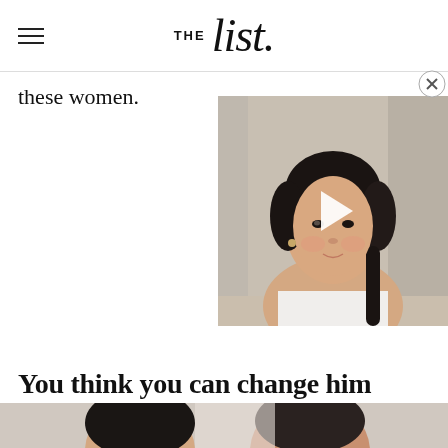THE list
these women.
[Figure (photo): Video thumbnail showing a woman with dark hair pulled back, wearing a white top, with a play button overlay. Close button (X) in top-right corner.]
You think you can change him
[Figure (photo): Bottom portion of a photo showing two people, partially cropped at bottom of page.]